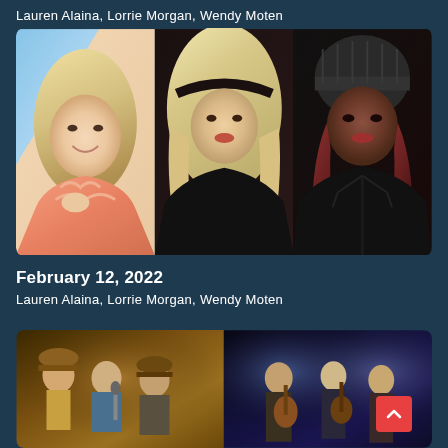Lauren Alaina, Lorrie Morgan, Wendy Moten
[Figure (photo): Three women performers: Lauren Alaina (blonde woman smiling in peach outfit), Lorrie Morgan (blonde woman with headband in dark outfit), Wendy Moten (woman in dark knit hat and leather jacket)]
February 12, 2022
Lauren Alaina, Lorrie Morgan, Wendy Moten
[Figure (photo): Left panel: group of male country performers on stage with hats. Right panel: performers playing acoustic guitars on a dimly lit stage.]